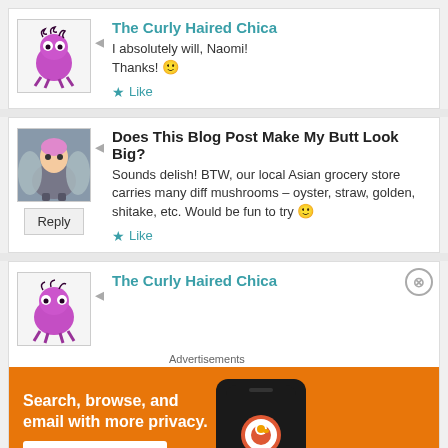[Figure (illustration): Avatar of curly-haired character (purple/pink creature illustration)]
The Curly Haired Chica
I absolutely will, Naomi!
Thanks! 🙂
★ Like
[Figure (photo): Avatar photo of a person dressed in costume with wings]
Does This Blog Post Make My Butt Look Big?
Sounds delish! BTW, our local Asian grocery store carries many diff mushrooms – oyster, straw, golden, shitake, etc. Would be fun to try 🙂
★ Like
Reply
[Figure (illustration): Avatar of purple robot/creature illustration]
The Curly Haired Chica
Advertisements
[Figure (infographic): DuckDuckGo advertisement banner: Search, browse, and email with more privacy. All in One Free App]